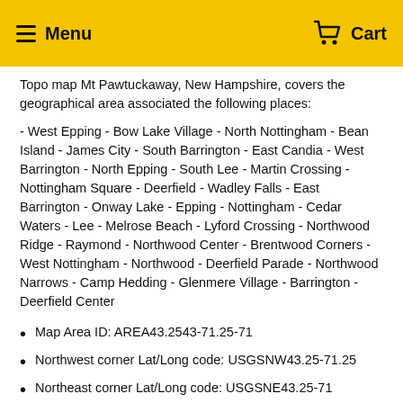Menu  Cart
Topo map Mt Pawtuckaway, New Hampshire, covers the geographical area associated the following places:
- West Epping - Bow Lake Village - North Nottingham - Bean Island - James City - South Barrington - East Candia - West Barrington - North Epping - South Lee - Martin Crossing - Nottingham Square - Deerfield - Wadley Falls - East Barrington - Onway Lake - Epping - Nottingham - Cedar Waters - Lee - Melrose Beach - Lyford Crossing - Northwood Ridge - Raymond - Northwood Center - Brentwood Corners - West Nottingham - Northwood - Deerfield Parade - Northwood Narrows - Camp Hedding - Glenmere Village - Barrington - Deerfield Center
Map Area ID: AREA43.2543-71.25-71
Northwest corner Lat/Long code: USGSNW43.25-71.25
Northeast corner Lat/Long code: USGSNE43.25-71
Southwest corner Lat/Long code: USGSSW43-71.25
Southeast corner Lat/Long code: USGSSE43-71
Northern map edge Latitude: 43.25